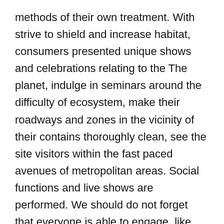methods of their own treatment. With strive to shield and increase habitat, consumers presented unique shows and celebrations relating to the The planet, indulge in seminars around the difficulty of ecosystem, make their roadways and zones in the vicinity of their contains thoroughly clean, see the site visitors within the fast paced avenues of metropolitan areas. Social functions and live shows are performed. We should do not forget that everyone is able to engage, like you. Everyone tend to make the world a greater location.
Assist the Planet earth to Restore her Injuries
There are various very simple suggestions about making improvements to enviromentally friendly illnesses. I will advise you on them during this essay we know daytime. It can be a task of humankind to